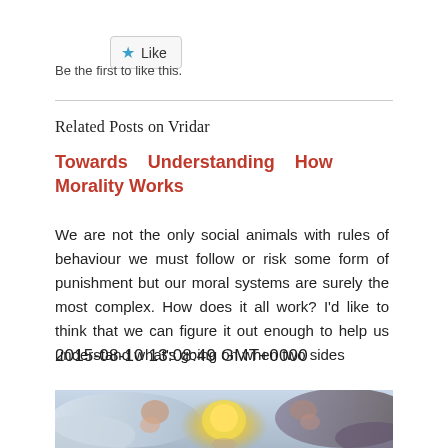[Figure (other): Like button widget with star icon]
Be the first to like this.
Related Posts on Vridar
Towards Understanding How Morality Works
We are not the only social animals with rules of behaviour we must follow or risk some form of punishment but our moral systems are surely the most complex. How does it all work? I'd like to think that we can figure it out enough to help us understand what's going on when two sides
2015-08-10 13:08:49 GMT+0000
[Figure (illustration): Classical painting showing angels or mythological figures in clouds around a central glowing sun/light source]